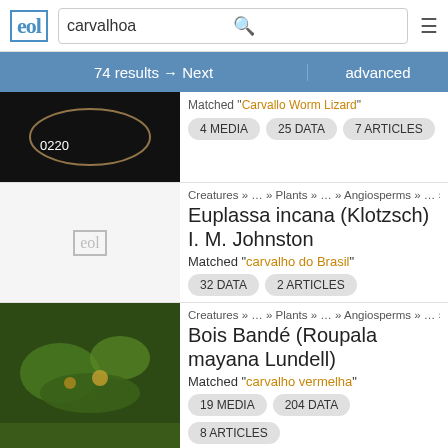EOL | carvalhoa | 74 results → Next | advanced
Matched "Carvallo Worm Lizard"
4 MEDIA  25 DATA  7 ARTICLES
Creatures » … » Plants » … » Angiosperms » … » Proto
Euplassa incana (Klotzsch) I. M. Johnston
Matched "carvalho do Brasil"
32 DATA  2 ARTICLES
Creatures » … » Plants » … » Angiosperms » … » Proto
Bois Bandé (Roupala mayana Lundell)
Matched "carvalho vermelha"
19 MEDIA  204 DATA  8 ARTICLES
Creatures » … » Plants » … » Angiosperms » … » Bee
Quercus alnifolia Poech
Matched "Carvalho-dourado"
59 MEDIA  23 DATA  11 ARTICLES
Creatures  Plants  Angiosperms  Boo